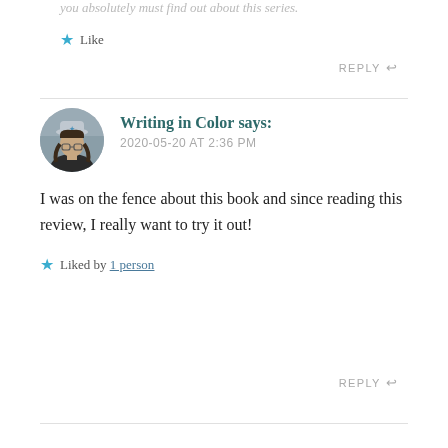you absolutely must find out about this series.
★ Like
REPLY ↩
[Figure (photo): Circular avatar photo of a young person wearing glasses and a hat with a star, with long dark hair, photographed outdoors against a wooden/grey background.]
Writing in Color says: 2020-05-20 AT 2:36 PM
I was on the fence about this book and since reading this review, I really want to try it out!
★ Liked by 1 person
REPLY ↩